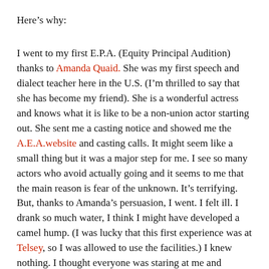Here's why:
I went to my first E.P.A. (Equity Principal Audition) thanks to Amanda Quaid. She was my first speech and dialect teacher here in the U.S. (I'm thrilled to say that she has become my friend). She is a wonderful actress and knows what it is like to be a non-union actor starting out. She sent me a casting notice and showed me the A.E.A.website and casting calls. It might seem like a small thing but it was a major step for me. I see so many actors who avoid actually going and it seems to me that the main reason is fear of the unknown. It's terrifying. But, thanks to Amanda's persuasion, I went. I felt ill. I drank so much water, I think I might have developed a camel hump. (I was lucky that this first experience was at Telsey, so I was allowed to use the facilities.) I knew nothing. I thought everyone was staring at me and judging me and, worst of all, laughing at me. But I went. I found the monitor and I signed my name on the non-equity list. And nobody laughed. Nobody pointed. So far, so good. I sat and waited. I watched. I learned. I went from 8a.m. and hoping that I would not be seen (out of fear) to feeling devastated when I heard the